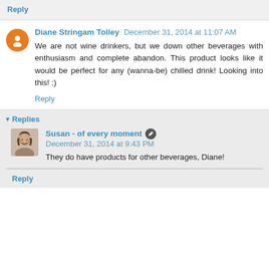Reply
Diane Stringam Tolley December 31, 2014 at 11:07 AM
We are not wine drinkers, but we down other beverages with enthusiasm and complete abandon. This product looks like it would be perfect for any (wanna-be) chilled drink! Looking into this! :)
Reply
Replies
Susan - of every moment December 31, 2014 at 9:43 PM
They do have products for other beverages, Diane!
Reply